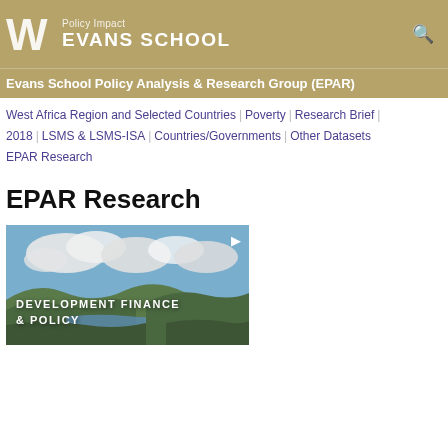Policy Impact | EVANS SCHOOL
Evans School Policy Analysis & Research Group (EPAR)
West Africa Region and Selected Countries | Poverty | Research Brief | 2018 | LSMS & LSMS-ISA | Countries/Governments | Other Datasets | EPAR Research
EPAR Research
[Figure (photo): Landscape photo of green hills and a lake or river under a partly cloudy sky, with white text overlay reading DEVELOPMENT FINANCE & POLICY]